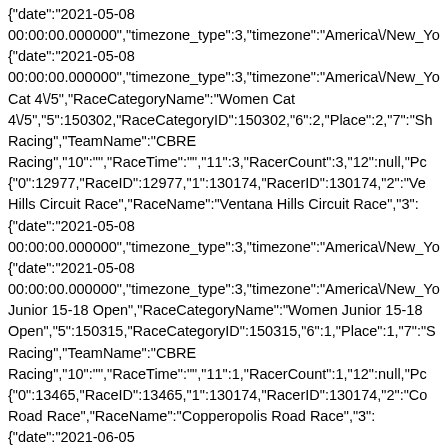{"date":"2021-05-08 00:00:00.000000","timezone_type":3,"timezone":"America\/New_Yo {"date":"2021-05-08 00:00:00.000000","timezone_type":3,"timezone":"America\/New_Yo Cat 4\/5","RaceCategoryName":"Women Cat 4\/5","5":150302,"RaceCategoryID":150302,"6":2,"Place":2,"7":"Sh Racing","TeamName":"CBRE Racing","10":"","RaceTime":"","11":3,"RacerCount":3,"12":null,"Pc {"0":12977,"RaceID":12977,"1":130174,"RacerID":130174,"2":"Ve Hills Circuit Race","RaceName":"Ventana Hills Circuit Race","3": {"date":"2021-05-08 00:00:00.000000","timezone_type":3,"timezone":"America\/New_Yo {"date":"2021-05-08 00:00:00.000000","timezone_type":3,"timezone":"America\/New_Yo Junior 15-18 Open","RaceCategoryName":"Women Junior 15-18 Open","5":150315,"RaceCategoryID":150315,"6":1,"Place":1,"7":"S Racing","TeamName":"CBRE Racing","10":"","RaceTime":"","11":1,"RacerCount":1,"12":null,"Pc {"0":13465,"RaceID":13465,"1":130174,"RacerID":130174,"2":"Co Road Race","RaceName":"Copperopolis Road Race","3": {"date":"2021-06-05 00:00:00.000000","timezone_type":3,"timezone":"America\/New_Yo {"date":"2021-06-05 00:00:00.000000","timezone_type":3,"timezone":"America\/New_Yo Junior 15-18","RaceCategoryName":"Women Junior 15-